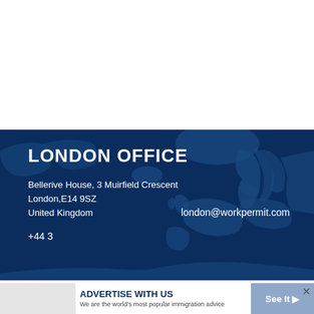LONDON OFFICE
Bellerive House, 3 Muirfield Crescent
London,E14 9SZ
United Kingdom
london@workpermit.com
+44 3...
Search for
ADVERTISE WITH US
We are the world's most popular immigration advice